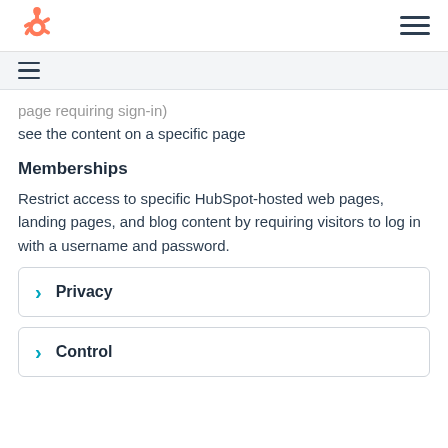HubSpot logo and navigation menu
see the content on a specific page
Memberships
Restrict access to specific HubSpot-hosted web pages, landing pages, and blog content by requiring visitors to log in with a username and password.
Privacy
Control